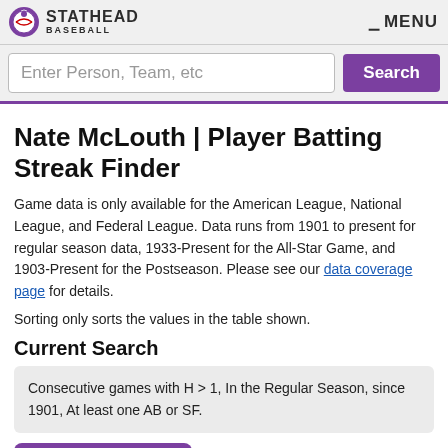STATHEAD BASEBALL | MENU
Enter Person, Team, etc | Search
Nate McLouth | Player Batting Streak Finder
Game data is only available for the American League, National League, and Federal League. Data runs from 1901 to present for regular season data, 1933-Present for the All-Star Game, and 1903-Present for the Postseason. Please see our data coverage page for details.
Sorting only sorts the values in the table shown.
Current Search
Consecutive games with H > 1, In the Regular Season, since 1901, At least one AB or SF.
➜ Share Results
Search Criteria